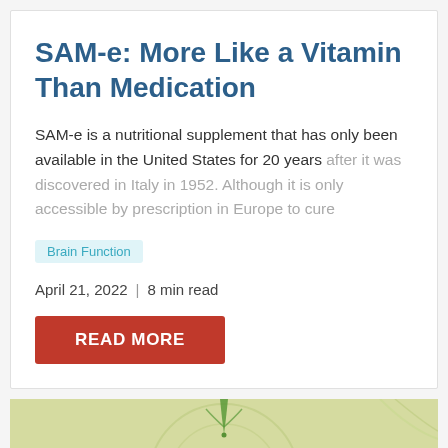SAM-e: More Like a Vitamin Than Medication
SAM-e is a nutritional supplement that has only been available in the United States for 20 years after it was discovered in Italy in 1952. Although it is only accessible by prescription in Europe to cure
Brain Function
April 21, 2022  |  8 min read
READ MORE
[Figure (illustration): Partial view of a green-toned circular botanical illustration against a light olive background]